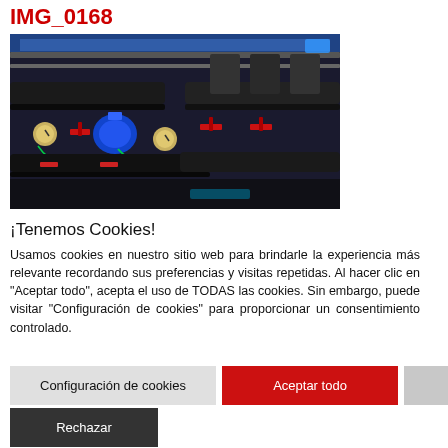IMG_0168
[Figure (photo): Overhead view of industrial piping system with insulated pipes, blue valves, pressure gauges, and red handle valves mounted on a frame structure.]
¡Tenemos Cookies!
Usamos cookies en nuestro sitio web para brindarle la experiencia más relevante recordando sus preferencias y visitas repetidas. Al hacer clic en "Aceptar todo", acepta el uso de TODAS las cookies. Sin embargo, puede visitar "Configuración de cookies" para proporcionar un consentimiento controlado.
Configuración de cookies
Aceptar todo
Aceptar
Rechazar